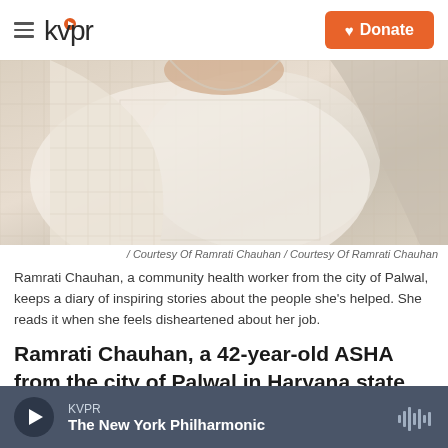kvpr — Donate
[Figure (photo): Close-up photo of a woman wearing a white/cream patterned garment or sari with grid/mesh pattern, against a light background]
/ Courtesy Of Ramrati Chauhan / Courtesy Of Ramrati Chauhan
Ramrati Chauhan, a community health worker from the city of Palwal, keeps a diary of inspiring stories about the people she's helped. She reads it when she feels disheartened about her job.
Ramrati Chauhan, a 42-year-old ASHA from the city of Palwal in Haryana state, says she gets very attached to the pregnant women she assists.
KVPR — The New York Philharmonic